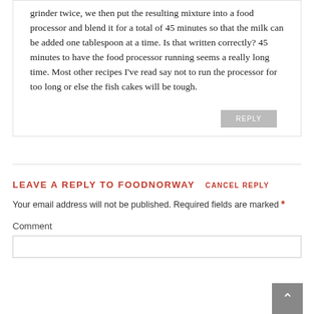grinder twice, we then put the resulting mixture into a food processor and blend it for a total of 45 minutes so that the milk can be added one tablespoon at a time. Is that written correctly? 45 minutes to have the food processor running seems a really long time. Most other recipes I've read say not to run the processor for too long or else the fish cakes will be tough.
LEAVE A REPLY TO FOODNORWAY  CANCEL REPLY
Your email address will not be published. Required fields are marked *
Comment